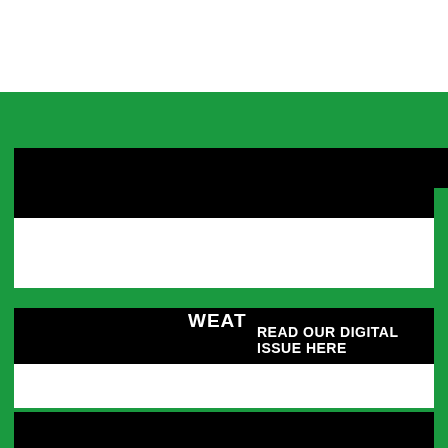WEATI READ OUR DIGITAL ISSUE HERE
The location could not be found.
VISIT US ON FACEBOOK
PROMOTE YOUR BRAND